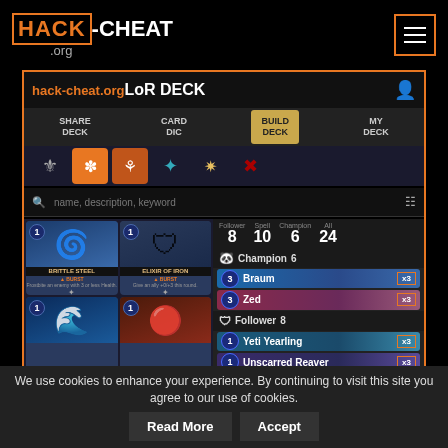HACK-CHEAT .org
[Figure (screenshot): Screenshot of hack-cheat.org LoR DECK builder page showing navigation tabs (SHARE DECK, CARD DIC, BUILD DECK, MY DECK), faction icons, card search bar, card images (BRITTLE STEEL - BURST, ELIXIR OF IRON - BURST), deck list with stats (Follower 8, Spell 10, Champion 6, All 24), Champion section showing Braum x3 and Zed x3, Follower section showing Yeti Yearling x3 and Unscarred Reaver x3]
We use cookies to enhance your experience. By continuing to visit this site you agree to our use of cookies.
Read More
Accept